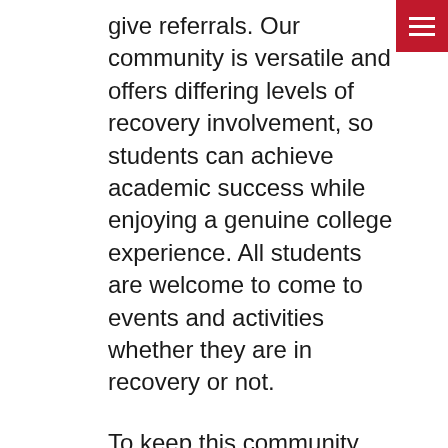[Figure (other): Red hamburger menu button in top-right corner with three white horizontal lines]
give referrals. Our community is versatile and offers differing levels of recovery involvement, so students can achieve academic success while enjoying a genuine college experience. All students are welcome to come to events and activities whether they are in recovery or not.
To keep this community student-centered, we offer engagement positions for students to run and operate several aspects of the community. There are no required lengths of sobriety to become a member of Recovery at the U. Our student leadership positions will be required to go through an onboard training process. This is to cultivate leadership skills and follow proper procedures to better ensure the quality and professionalism of our leaders.
It is an exciting time to become a member of recovery